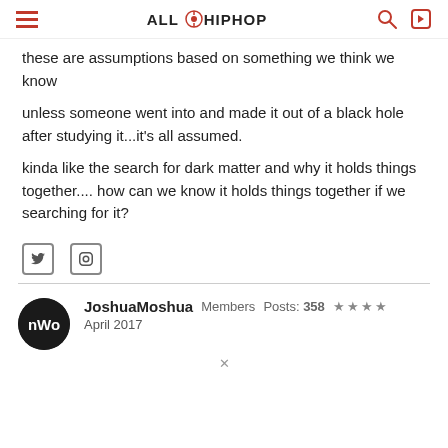ALL HIP HOP
these are assumptions based on something we think we know
unless someone went into and made it out of a black hole after studying it...it's all assumed.
kinda like the search for dark matter and why it holds things together.... how can we know it holds things together if we searching for it?
JoshuaMoshua  Members  Posts: 358  ★★★★  April 2017